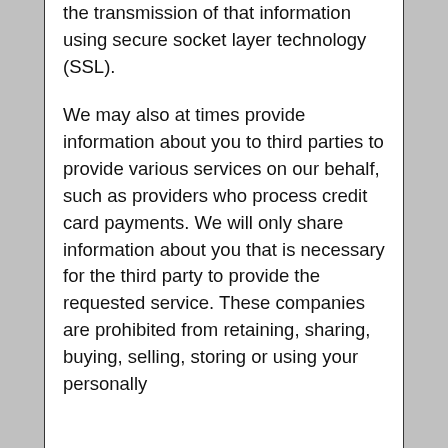the transmission of that information using secure socket layer technology (SSL).
We may also at times provide information about you to third parties to provide various services on our behalf, such as providers who process credit card payments. We will only share information about you that is necessary for the third party to provide the requested service. These companies are prohibited from retaining, sharing, buying, selling, storing or using your personally